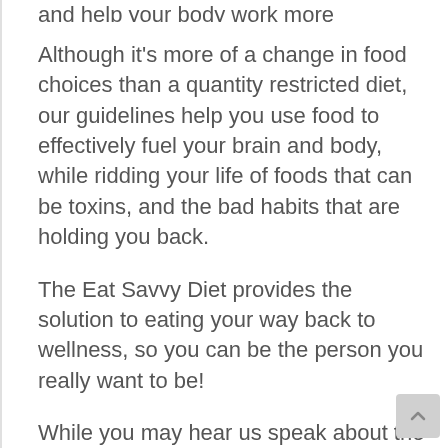and help your body work more efficiently. Although it's more of a change in food choices than a quantity restricted diet, our guidelines help you use food to effectively fuel your brain and body, while ridding your life of foods that can be toxins, and the bad habits that are holding you back.
The Eat Savvy Diet provides the solution to eating your way back to wellness, so you can be the person you really want to be!
While you may hear us speak about the science that backs the Eat Savvy Diet, and the 'biological reasons' for following the Diet, you won't need a degree in biochemistry or nutrition to start seeing huge changes in your all-around wellbeing. These changes include improvements